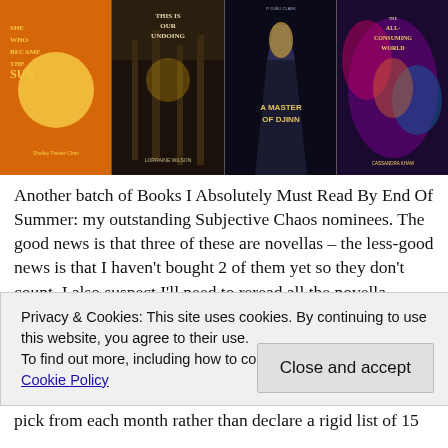[Figure (illustration): Grid of four book covers: 'She Who Became the Sun' by Shelley Parker-Chan (orange/black cover), 'This Is Our Undoing' by Lorraine Wilson (dark forest cover), 'A Master of Djinn' by P. Djèlí Clark (dark corridor cover), 'The All-Consuming World' by Cassandra Khaw (colorful alien cover).]
Another batch of Books I Absolutely Must Read By End Of Summer: my outstanding Subjective Chaos nominees. The good news is that three of these are novellas – the less-good news is that I haven't bought 2 of them yet so they don't count. I also suspect I'll need to reread all the novella
Privacy & Cookies: This site uses cookies. By continuing to use this website, you agree to their use.
To find out more, including how to control cookies, see here: Cookie Policy
Close and accept
pick from each month rather than declare a rigid list of 15